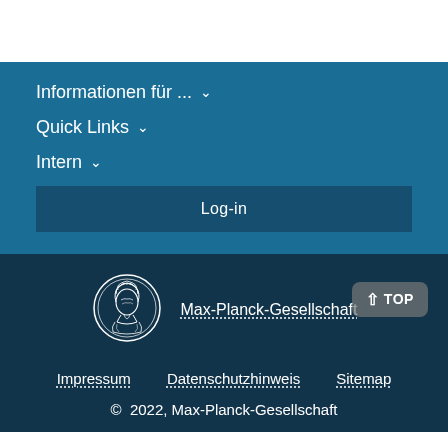Informationen für ...
Quick Links
Intern
Log-in
[Figure (logo): Max-Planck-Gesellschaft circular coin logo with Minerva head]
Max-Planck-Gesellschaft
TOP
Impressum
Datenschutzhinweis
Sitemap
© 2022, Max-Planck-Gesellschaft